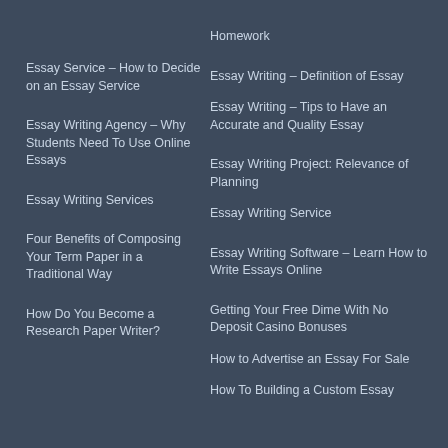Homework
Essay Service – How to Decide on an Essay Service
Essay Writing – Definition of Essay
Essay Writing – Tips to Have an Accurate and Quality Essay
Essay Writing Agency – Why Students Need To Use Online Essays
Essay Writing Project: Relevance of Planning
Essay Writing Service
Essay Writing Services
Essay Writing Software – Learn How to Write Essays Online
Four Benefits of Composing Your Term Paper in a Traditional Way
Getting Your Free Dime With No Deposit Casino Bonuses
How Do You Become a Research Paper Writer?
How to Advertise an Essay For Sale
How To Building a Custom Essay